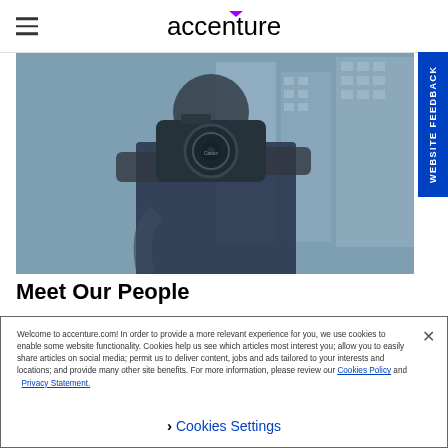accenture
[Figure (photo): Person holding a Canon camera up to their face, taking a photo, with city buildings in the background. Blue-tinted photo.]
Meet Our People
Welcome to accenture.com! In order to provide a more relevant experience for you, we use cookies to enable some website functionality. Cookies help us see which articles most interest you; allow you to easily share articles on social media; permit us to deliver content, jobs and ads tailored to your interests and locations; and provide many other site benefits. For more information, please review our Cookies Policy and Privacy Statement.
Cookies Settings